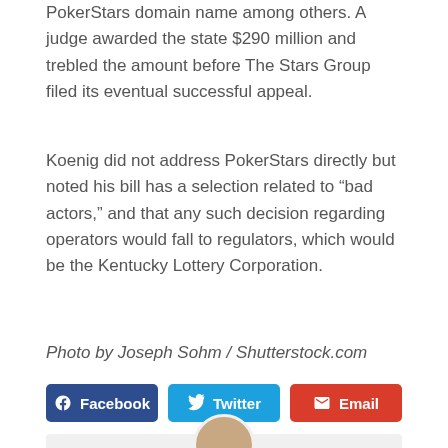PokerStars domain name among others. A judge awarded the state $290 million and trebled the amount before The Stars Group filed its eventual successful appeal.
Koenig did not address PokerStars directly but noted his bill has a selection related to “bad actors,” and that any such decision regarding operators would fall to regulators, which would be the Kentucky Lottery Corporation.
Photo by Joseph Sohm / Shutterstock.com
Facebook
Twitter
Email